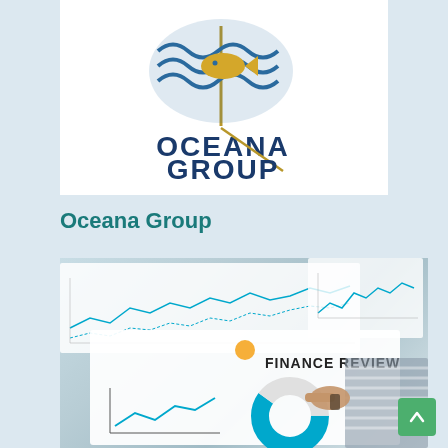[Figure (logo): Oceana Group logo — stylized fish and waves on a flag motif above the text OCEANA GROUP in dark blue letters with a diagonal gold line]
Oceana Group
[Figure (photo): Person pointing at a finance review board showing charts including a line chart, a donut chart, and the text FINANCE REVIEW. Papers with line graphs and data charts are visible in the background.]